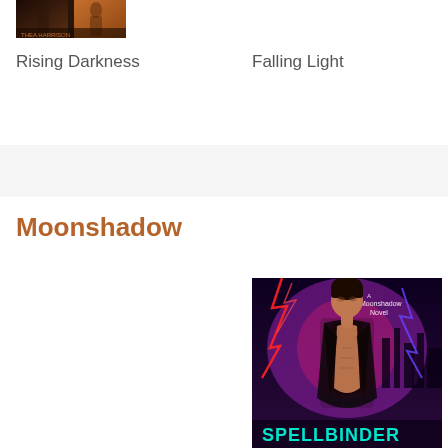[Figure (photo): Partial book cover thumbnail at top left, showing a dark fantasy/romance image, cropped]
Rising Darkness
Falling Light
Moonshadow
[Figure (photo): Book cover for Spellbinder, a Moonshadow Novel, showing a shirtless dark-haired man in an open jacket with dramatic purple and red lightning background and a city silhouette, with teal text 'SPELLBINDER' at the bottom]